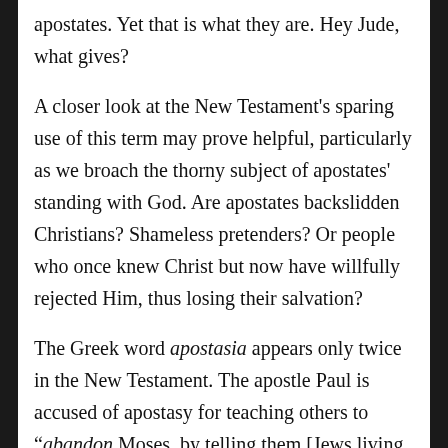apostates. Yet that is what they are. Hey Jude, what gives?
A closer look at the New Testament's sparing use of this term may prove helpful, particularly as we broach the thorny subject of apostates' standing with God. Are apostates backslidden Christians? Shameless pretenders? Or people who once knew Christ but now have willfully rejected Him, thus losing their salvation?
The Greek word apostasia appears only twice in the New Testament. The apostle Paul is accused of apostasy for teaching others to “abandon Moses, by telling them [Jews living among Gentiles] not to circumcise their children or to walk in our customs”